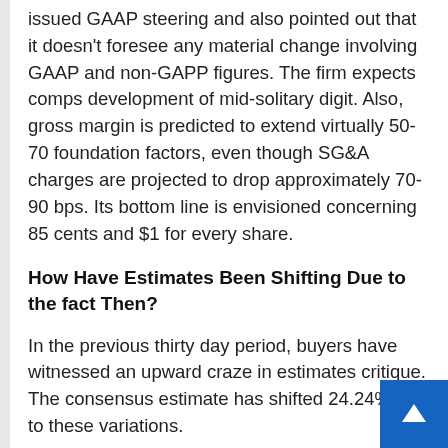issued GAAP steering and also pointed out that it doesn't foresee any material change involving GAAP and non-GAPP figures. The firm expects comps development of mid-solitary digit. Also, gross margin is predicted to extend virtually 50-70 foundation factors, even though SG&A charges are projected to drop approximately 70-90 bps. Its bottom line is envisioned concerning 85 cents and $1 for every share.
How Have Estimates Been Shifting Due to the fact Then?
In the previous thirty day period, buyers have witnessed an upward craze in estimates critique. The consensus estimate has shifted 24.24% th to these variations.